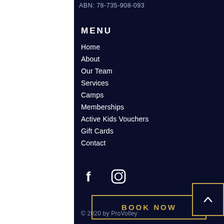ABN: 78-735-908-093
MENU
Home
About
Our Team
Services
Camps
Memberships
Active Kids Vouchers
Gift Cards
Contact
[Figure (other): Facebook and Instagram social media icons]
[Figure (other): BOOK NOW button with gold border]
© 2020 by ProVolley